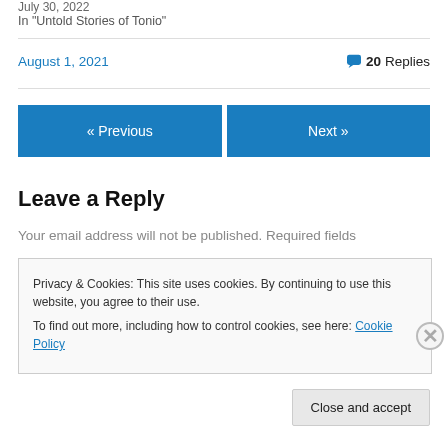July 30, 2022
In "Untold Stories of Tonio"
August 1, 2021     💬 20 Replies
« Previous
Next »
Leave a Reply
Your email address will not be published. Required fields
Privacy & Cookies: This site uses cookies. By continuing to use this website, you agree to their use.
To find out more, including how to control cookies, see here: Cookie Policy
Close and accept